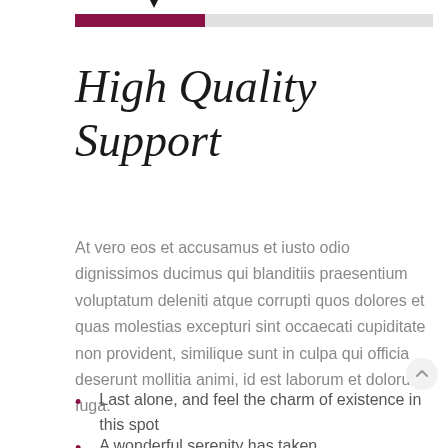[Figure (infographic): Progress bar with dark red/maroon filled portion on left and grey unfilled portion on right, with a small downward arrow above]
High Quality Support
At vero eos et accusamus et iusto odio dignissimos ducimus qui blanditiis praesentium voluptatum deleniti atque corrupti quos dolores et quas molestias excepturi sint occaecati cupiditate non provident, similique sunt in culpa qui officia deserunt mollitia animi, id est laborum et dolorum fuga.
Last alone, and feel the charm of existence in this spot
A wonderful serenity has taken